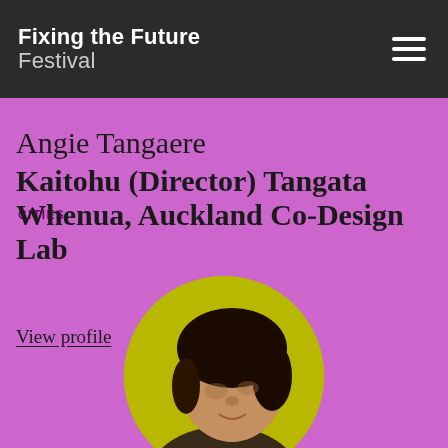Fixing the Future Festival
CITIES
Angie Tangaere
Kaitohu (Director) Tangata Whenua, Auckland Co-Design Lab
View profile
[Figure (photo): Circular portrait photo of Angie Tangaere on yellow-green background, cropped at bottom of page]